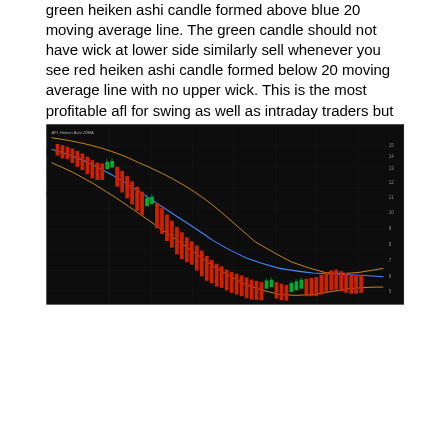green heiken ashi candle formed above blue 20 moving average line. The green candle should not have wick at lower side similarly sell whenever you see red heiken ashi candle formed below 20 moving average line with no upper wick. This is the most profitable afl for swing as well as intraday traders but it is recommended to use it in daily time frame for good results. It can also be used for intraday with 15 minutes timeframe. If you have any doubt, you can always ask in comment section below.
[Figure (screenshot): Trading chart screenshot showing a bearish downtrend with red Heiken Ashi candles below a blue 20-period moving average line, with orange Bollinger Band lines on a dark/black background. The chart shows a prolonged downtrend with some green candle recoveries near the end.]